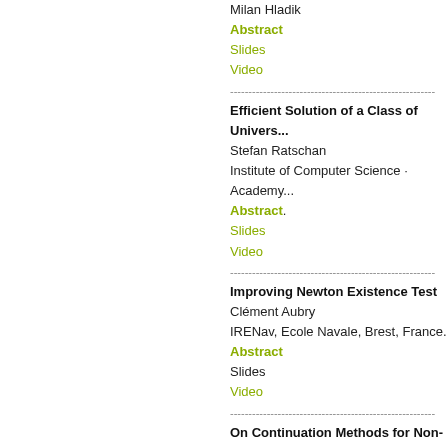Milan Hladik
Abstract
Slides
Video
---divider---
Efficient Solution of a Class of Univers...
Stefan Ratschan
Institute of Computer Science · Academy...
Abstract.
Slides
Video
---divider---
Improving Newton Existence Test
Clément Aubry
IRENav, Ecole Navale, Brest, France.
Abstract
Slides
Video
---divider---
On Continuation Methods for Non-Line...
B. Martin, A. Goldsztejn, L. Granvilliers, C...
Université de Nantes, LINA, France
Abstract
Slides
Video 1
Video 2
---divider---
Interval based dynamic simulation in c...
Carlos Perez-Galvan and I. D. L. Bogle